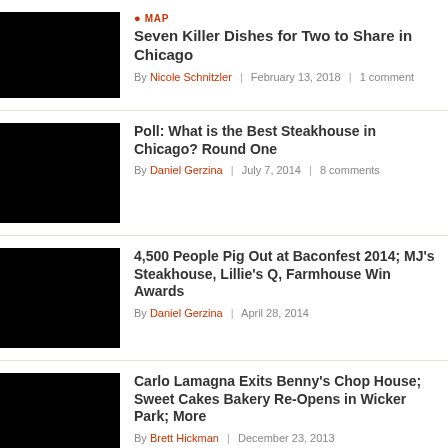MAP | Seven Killer Dishes for Two to Share in Chicago | By Nicole Schnitzler | February 13, 2018 | 1 comment
Poll: What is the Best Steakhouse in Chicago? Round One | By Daniel Gerzina | July 7, 2014 | 8 comments
4,500 People Pig Out at Baconfest 2014; MJ's Steakhouse, Lillie's Q, Farmhouse Win Awards | By Daniel Gerzina | April 28, 2014
Carlo Lamagna Exits Benny's Chop House; Sweet Cakes Bakery Re-Opens in Wicker Park; More | By Brett Hickman | December 23, 2013